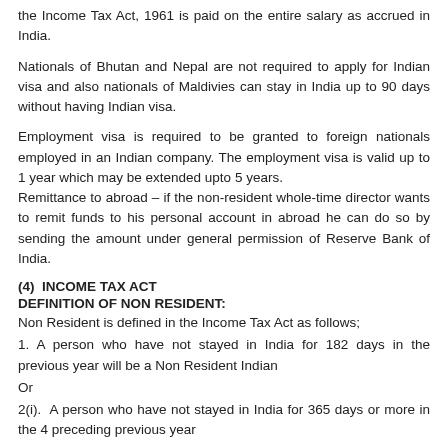the Income Tax Act, 1961 is paid on the entire salary as accrued in India.
Nationals of Bhutan and Nepal are not required to apply for Indian visa and also nationals of Maldivies can stay in India up to 90 days without having Indian visa.
Employment visa is required to be granted to foreign nationals employed in an Indian company. The employment visa is valid up to 1 year which may be extended upto 5 years.
Remittance to abroad – if the non-resident whole-time director wants to remit funds to his personal account in abroad he can do so by sending the amount under general permission of Reserve Bank of India.
(4)  INCOME TAX ACT
DEFINITION OF NON RESIDENT:
Non Resident is defined in the Income Tax Act as follows;
1. A person who have not stayed in India for 182 days in the previous year will be a Non Resident Indian
Or
2(i).  A person who have not stayed in India for 365 days or more in the 4 preceding previous year
And